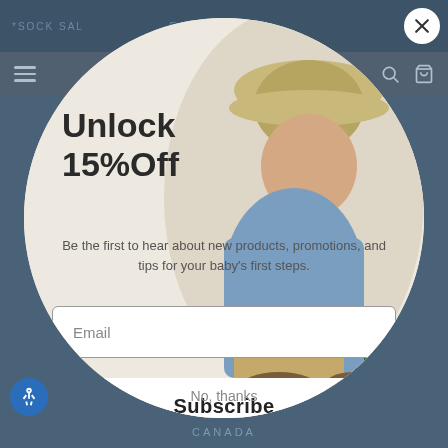[Figure (screenshot): Website popup modal on a blue-grey background. The popup is a circular modal showing a baby/toddler wearing a straw hat and blue denim shirt. The modal contains a discount offer, email subscription form, subscribe button, and no thanks link.]
Unlock
15%Off
Be the first to hear about new products, promotions, and tips for your baby's first steps.
Email
Subscribe
No, thanks
CANADA